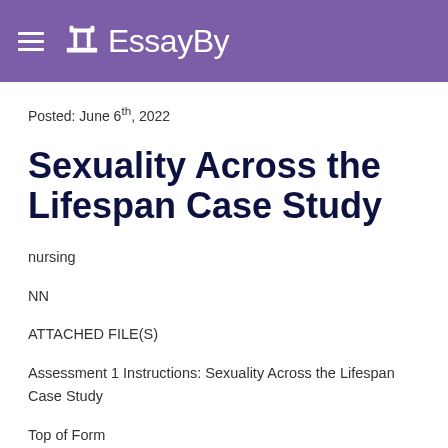EssayBy
Posted: June 6th, 2022
Sexuality Across the Lifespan Case Study
nursing
NN
ATTACHED FILE(S)
Assessment 1 Instructions: Sexuality Across the Lifespan Case Study
Top of Form
Bottom of Form